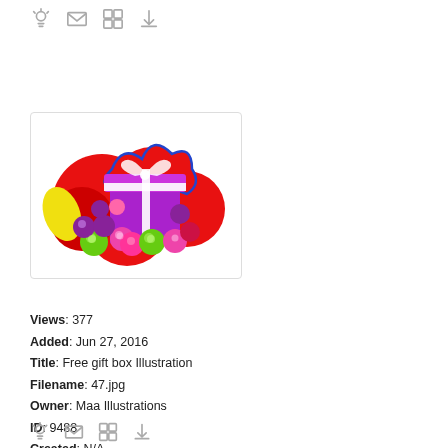[Figure (illustration): Toolbar icons: lightbulb, envelope, grid, download arrow]
[Figure (illustration): Colorful gift box illustration with red cloud background and decorative balls]
Views: 377
Added: Jun 27, 2016
Title: Free gift box Illustration
Filename: 47.jpg
Owner: Maa Illustrations
ID: 9488
Created: N/A
[Figure (illustration): Toolbar icons at bottom: lightbulb, envelope, grid, download arrow]